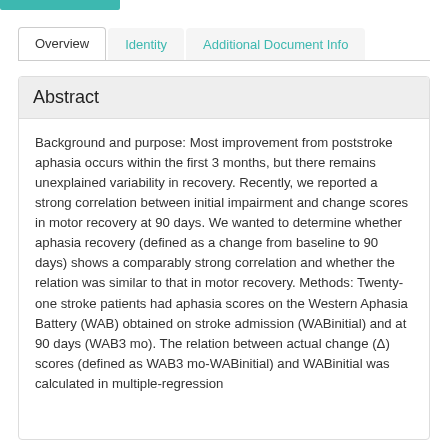Overview | Identity | Additional Document Info
Abstract
Background and purpose: Most improvement from poststroke aphasia occurs within the first 3 months, but there remains unexplained variability in recovery. Recently, we reported a strong correlation between initial impairment and change scores in motor recovery at 90 days. We wanted to determine whether aphasia recovery (defined as a change from baseline to 90 days) shows a comparably strong correlation and whether the relation was similar to that in motor recovery. Methods: Twenty-one stroke patients had aphasia scores on the Western Aphasia Battery (WAB) obtained on stroke admission (WABinitial) and at 90 days (WAB3 mo). The relation between actual change (Δ) scores (defined as WAB3 mo-WABinitial) and WABinitial was calculated in multiple-regression